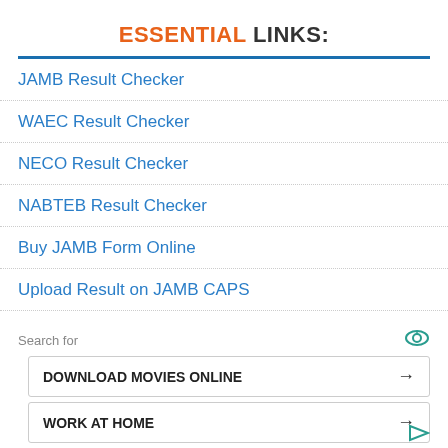ESSENTIAL LINKS:
JAMB Result Checker
WAEC Result Checker
NECO Result Checker
NABTEB Result Checker
Buy JAMB Form Online
Upload Result on JAMB CAPS
Buy WAEC Scratch Card
Search for
DOWNLOAD MOVIES ONLINE →
WORK AT HOME →